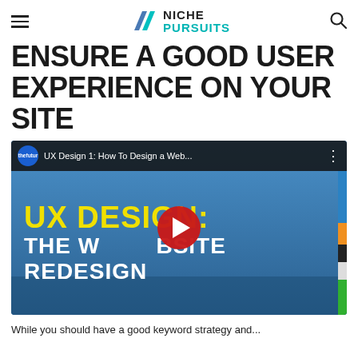Niche Pursuits
ENSURE A GOOD USER EXPERIENCE ON YOUR SITE
[Figure (screenshot): YouTube video thumbnail embed: 'UX Design 1: How To Design a Web...' by thefutur channel. Shows bold text 'UX DESIGN: THE WEBSITE REDESIGN' in yellow and white on a blue background, with a YouTube play button overlay.]
While you should have a good keyword strategy and...